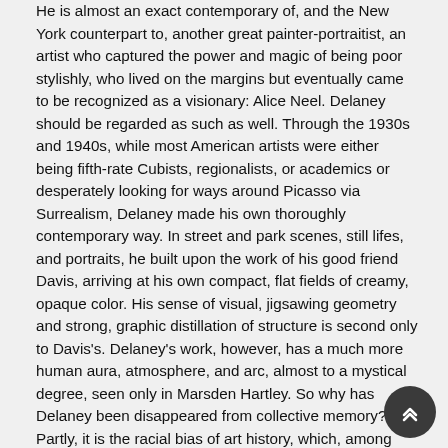He is almost an exact contemporary of, and the New York counterpart to, another great painter-portraitist, an artist who captured the power and magic of being poor stylishly, who lived on the margins but eventually came to be recognized as a visionary: Alice Neel. Delaney should be regarded as such as well. Through the 1930s and 1940s, while most American artists were either being fifth-rate Cubists, regionalists, or academics or desperately looking for ways around Picasso via Surrealism, Delaney made his own thoroughly contemporary way. In street and park scenes, still lifes, and portraits, he built upon the work of his good friend Davis, arriving at his own compact, flat fields of creamy, opaque color. His sense of visual, jigsawing geometry and strong, graphic distillation of structure is second only to Davis's. Delaney's work, however, has a much more human aura, atmosphere, and arc, almost to a mystical degree, seen only in Marsden Hartley. So why has Delaney been disappeared from collective memory? Partly, it is the racial bias of art history, which, among other things, meant that even while he was celebrated, it was less as a painterly equal to his contemporaries than as some kind of Negro seer or spiritual black Buddha. And in 1953, at the age of 51, Delaney left New York at perhaps the worst possible time. When other American artists, like Jasper Johns, Robert Rauschenberg, Cy Twombly, John Cage, and Merce Cunningham, were meeting and staying up late together